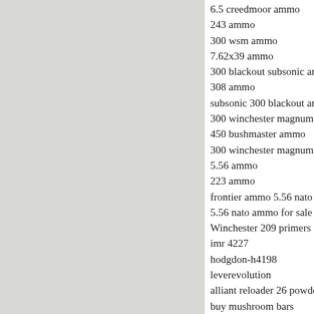6.5 creedmoor ammo
243 ammo
300 wsm ammo
7.62x39 ammo
300 blackout subsonic ammo
308 ammo
subsonic 300 blackout ammo
300 winchester magnum
450 bushmaster ammo
300 winchester magnum ammo
5.56 ammo
223 ammo
frontier ammo 5.56 nato
5.56 nato ammo for sale
Winchester 209 primers
imr 4227
hodgdon-h4198
leverevolution
alliant reloader 26 powder
buy mushroom bars
buy mushroom
buy mushroom
buy psychedelics
large pistol primers
small rifle primers
small rifle primers in stock
small pistol primers in stock
small rifle primers in stock
large pistol primers
large pistol primers in stock
large rifle primers